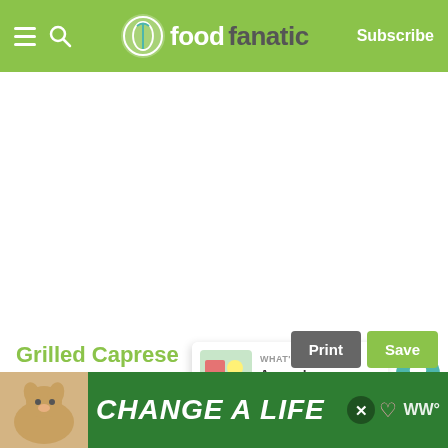foodfanatic — Subscribe
[Figure (screenshot): Large white/blank content area below the header, main page body]
[Figure (infographic): Floating action buttons: heart/love button (teal circle) with count 6, and share button (white circle with share icon)]
[Figure (infographic): What's Next panel showing thumbnail image and text 'Avocado Caprese...']
Grilled Caprese
[Figure (infographic): Print and Save buttons next to the recipe title]
[Figure (photo): Advertisement banner at bottom: dog photo, 'CHANGE A LIFE' text on green background, close button, heart icon, WW logo]